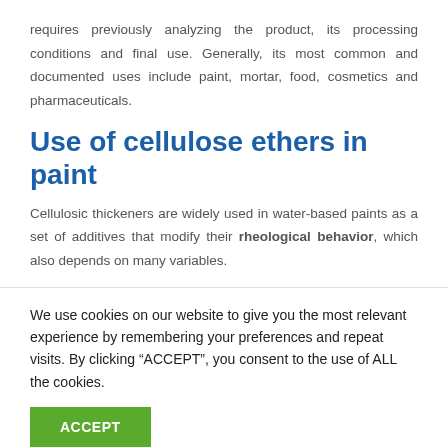requires previously analyzing the product, its processing conditions and final use. Generally, its most common and documented uses include paint, mortar, food, cosmetics and pharmaceuticals.
Use of cellulose ethers in paint
Cellulosic thickeners are widely used in water-based paints as a set of additives that modify their rheological behavior, which also depends on many variables.
We use cookies on our website to give you the most relevant experience by remembering your preferences and repeat visits. By clicking “ACCEPT”, you consent to the use of ALL the cookies.
ACCEPT